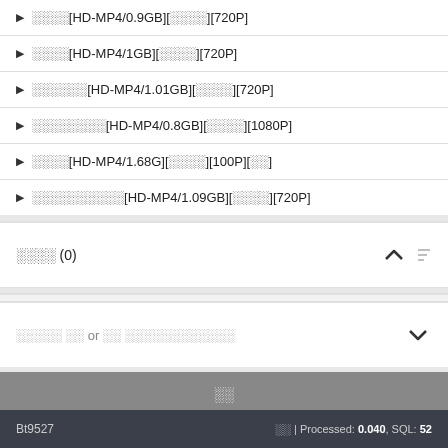▶ 国产剧[HD-MP4/0.9GB][国语中字][720P]
▶ 国产剧[HD-MP4/1GB][国语中字][720P]
▶ 国产剧合集[HD-MP4/1.01GB][国语中字][720P]
▶ 国产剧全集合[HD-MP4/0.8GB][国语中字][1080P]
▶ 国产剧[HD-MP4/1.68G][国语中字][100P][完]
▶ 国产剧全集合集[HD-MP4/1.09GB][国语中字][720P]
用户评论 (0)
登录后发表 or 直接 匿名评论匿名评论匿名评论
提交
Bt9527 | 程序 | Processed: 0.040, SQL: 52